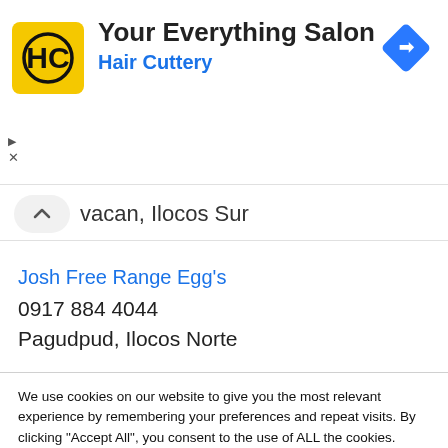[Figure (logo): Hair Cuttery HC yellow square logo with black HC letters]
Your Everything Salon
Hair Cuttery
[Figure (other): Blue diamond navigation/directions icon]
vacan, Ilocos Sur
Josh Free Range Egg's
0917 884 4044
Pagudpud, Ilocos Norte
We use cookies on our website to give you the most relevant experience by remembering your preferences and repeat visits. By clicking "Accept All", you consent to the use of ALL the cookies. However, you may visit "Cookie Settings" to provide a controlled consent.
Cookie Settings
Accept All